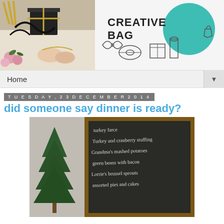[Figure (photo): Creative Bag blog header banner with photo of gift-wrapping materials (ribbon, flowers, gold accents, hands wrapping a gift) on the left, and illustrated packaging items with teal circle and 'CREATIVE BAG' brand text on the right]
Home ▼
Tuesday, 23 December 2014
did someone say dinner is ready?
[Figure (photo): Christmas dinner menu written in chalk on a blackboard with a gold/wooden frame, beside a small Christmas tree. Menu items include: turkey farce, Turkey and cranberry stuffing, Grandma's mashed potatoes, green beans with bacon, Lorrie's brussel sprouts, assorted pies and cakes]